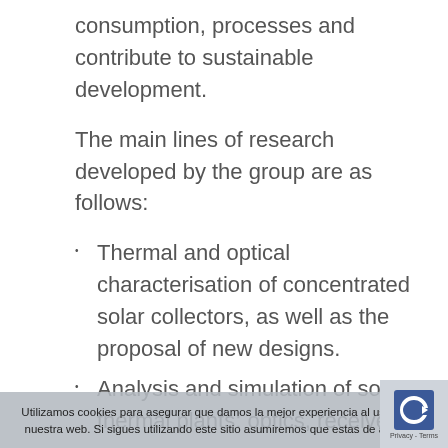consumption, processes and contribute to sustainable development.
The main lines of research developed by the group are as follows:
Thermal and optical characterisation of concentrated solar collectors, as well as the proposal of new designs.
Analysis and simulation of solar thermal plants: optics, receivers,
Utilizamos cookies para asegurar que damos la mejor experiencia al usuario en nuestra web. Si sigues utilizando este sitio asumiremos que estas de acuerdo.